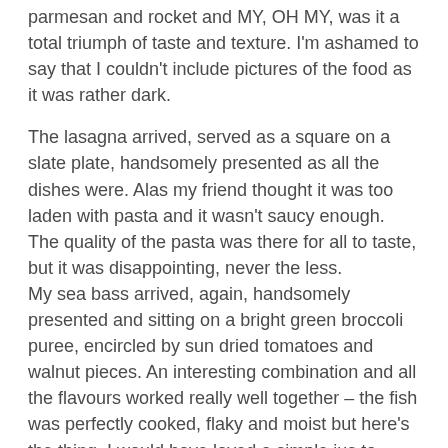parmesan and rocket and MY, OH MY, was it a total triumph of taste and texture. I'm ashamed to say that I couldn't include pictures of the food as it was rather dark.
The lasagna arrived, served as a square on a slate plate, handsomely presented as all the dishes were. Alas my friend thought it was too laden with pasta and it wasn't saucy enough. The quality of the pasta was there for all to taste, but it was disappointing, never the less. My sea bass arrived, again, handsomely presented and sitting on a bright green broccoli puree, encircled by sun dried tomatoes and walnut pieces. An interesting combination and all the flavours worked really well together – the fish was perfectly cooked, flaky and moist but here's the thing, I would have loved a simple jus to bring it all together. I had ordered some hand cut chips as a side and I'm sorry to say they were absolutely bloody awful. Limp, greasy and sad looking, it was almost absurd to think that ten minutes ago I had eaten the best carpaccio on the planet.
The wine was perfectly acceptable if a little unmemorable, the service impeccable but I have to say that for just under a hundred pounds, (including another couple of glasses) I expect a great deal for my money. I was briefly transported to food heaven but